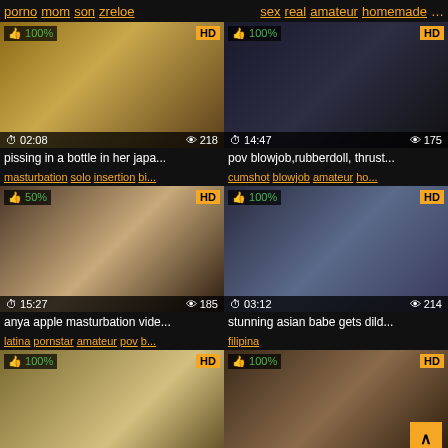porno mom son zreloe | sex real amateur homemade ...
[Figure (screenshot): Video thumbnail 1: 02:08 duration, 218 views, 100% rating, HD]
pissing in a bottle in her japa...
masturbation solo insertion bi...
[Figure (screenshot): Video thumbnail 2: 14:47 duration, 175 views, 100% rating, HD]
pov blowjob,rubberdoll, thrust...
cumshot blowjob amateur ho...
[Figure (screenshot): Video thumbnail 3: 15:27 duration, 185 views, 50% rating, HD]
anya apple masturbation vide...
latina pornstar amateur pov b...
[Figure (screenshot): Video thumbnail 4: 03:12 duration, 214 views, 100% rating, HD]
stunning asian babe gets dild...
filipina
[Figure (screenshot): Video thumbnail 5: 100% rating, HD]
[Figure (screenshot): Video thumbnail 6: 100% rating, HD]